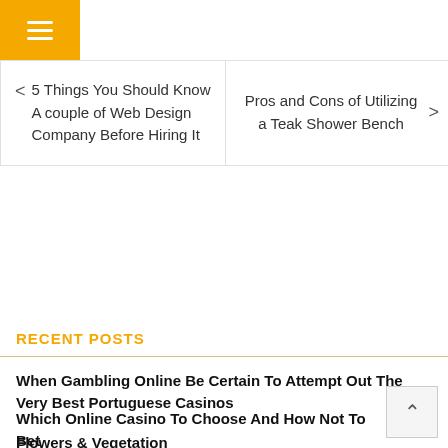[Figure (other): Yellow hamburger menu button with three white horizontal lines]
| < 5 Things You Should Know A couple of Web Design Company Before Hiring It | Pros and Cons of Utilizing a Teak Shower Bench > |
RECENT POSTS
When Gambling Online Be Certain To Attempt Out The Very Best Portuguese Casinos
Which Online Casino To Choose And How Not To Bet
Flowers & Vegetation